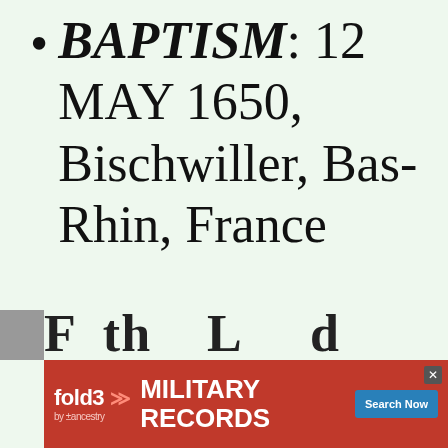BAPTISM: 12 MAY 1650, Bischwiller, Bas-Rhin, France
[Figure (screenshot): Advertisement banner for Fold3 Military Records by Ancestry, with red background, logo, 'MILITARY RECORDS' text, Search Now button, and photo of a soldier]